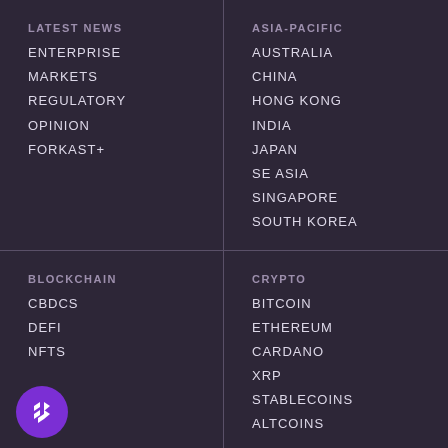LATEST NEWS
ENTERPRISE
MARKETS
REGULATORY
OPINION
FORKAST+
ASIA-PACIFIC
AUSTRALIA
CHINA
HONG KONG
INDIA
JAPAN
SE ASIA
SINGAPORE
SOUTH KOREA
BLOCKCHAIN
CBDCS
DEFI
NFTS
CRYPTO
BITCOIN
ETHEREUM
CARDANO
XRP
STABLECOINS
ALTCOINS